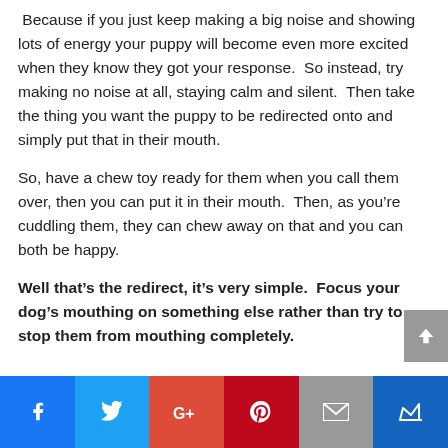Because if you just keep making a big noise and showing lots of energy your puppy will become even more excited when they know they got your response.  So instead, try making no noise at all, staying calm and silent.  Then take the thing you want the puppy to be redirected onto and simply put that in their mouth.
So, have a chew toy ready for them when you call them over, then you can put it in their mouth.  Then, as you're cuddling them, they can chew away on that and you can both be happy.
Well that's the redirect, it's very simple.  Focus your dog's mouthing on something else rather than try to stop them from mouthing completely.
Social share bar: Facebook, Twitter, Google+, Pinterest, Email, Crown